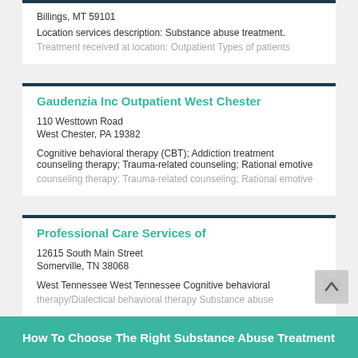Billings, MT 59101
Location services description: Substance abuse treatment.
Treatment received at location: Outpatient Types of patients...
Gaudenzia Inc Outpatient West Chester
110 Westtown Road
West Chester, PA 19382
Cognitive behavioral therapy (CBT); Addiction treatment counseling therapy; Trauma-related counseling; Rational emotive...
Professional Care Services of
12615 South Main Street
Somerville, TN 38068
West Tennessee West Tennessee Cognitive behavioral therapy/Dialectical behavioral therapy Substance abuse...
How To Choose The Right Substance Abuse Treatment